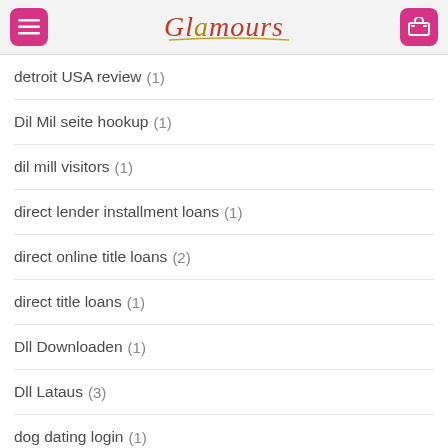Glamours
detroit USA review (1)
Dil Mil seite hookup (1)
dil mill visitors (1)
direct lender installment loans (1)
direct online title loans (2)
direct title loans (1)
Dll Downloaden (1)
Dll Lataus (3)
dog dating login (1)
Dog sites for free (1)